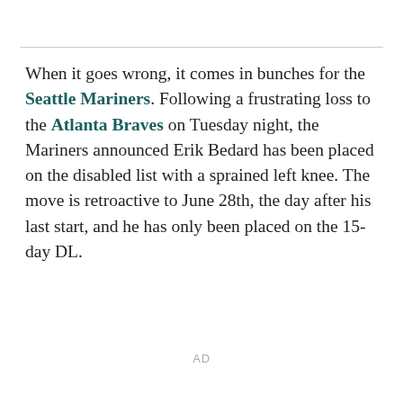When it goes wrong, it comes in bunches for the Seattle Mariners. Following a frustrating loss to the Atlanta Braves on Tuesday night, the Mariners announced Erik Bedard has been placed on the disabled list with a sprained left knee. The move is retroactive to June 28th, the day after his last start, and he has only been placed on the 15-day DL.
AD